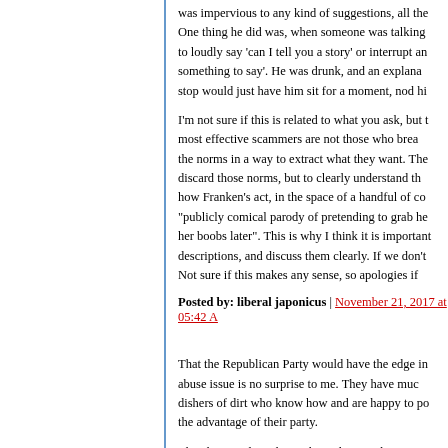was impervious to any kind of suggestions, all the One thing he did was, when someone was talking to loudly say 'can I tell you a story' or interrupt and something to say'. He was drunk, and an explanation stop would just have him sit for a moment, nod his
I'm not sure if this is related to what you ask, but the most effective scammers are not those who break the norms in a way to extract what they want. They discard those norms, but to clearly understand the how Franken's act, in the space of a handful of co "publicly comical parody of pretending to grab her her boobs later". This is why I think it is important descriptions, and discuss them clearly. If we don't Not sure if this makes any sense, so apologies if
Posted by: liberal japonicus | November 21, 2017 at 05:42 A
That the Republican Party would have the edge in abuse issue is no surprise to me. They have much dishers of dirt who know how and are happy to po the advantage of their party.
They have and eat their sake and won't share it w